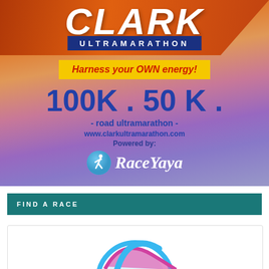[Figure (illustration): Clark Ultramarathon promotional banner. Top section has orange/red background with 'CLARK' in large white italic letters and 'ULTRAMARATHON' in white on dark blue bar. Yellow box with red italic text 'Harness your OWN energy!'. Large blue text '100K . 50 K .' with '- road ultramarathon -' and 'www.clarkultramarathon.com'. Bottom shows 'Powered by: RaceYaya' with circular runner logo on purple/lavender gradient background.]
FIND A RACE
[Figure (logo): Partial circular logo visible at bottom of page, blue and pink colors.]